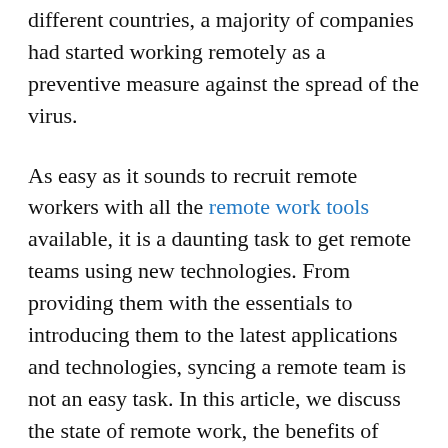different countries, a majority of companies had started working remotely as a preventive measure against the spread of the virus.
As easy as it sounds to recruit remote workers with all the remote work tools available, it is a daunting task to get remote teams using new technologies. From providing them with the essentials to introducing them to the latest applications and technologies, syncing a remote team is not an easy task. In this article, we discuss the state of remote work, the benefits of working remotely, the challenges associated with new technologies and work from home tools, and how to make your remote team onboard new technology.